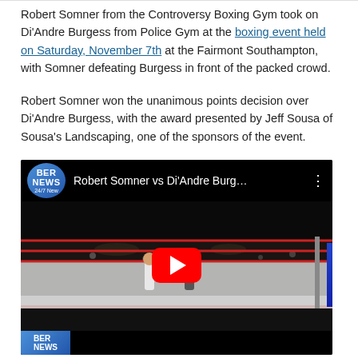Robert Somner from the Controversy Boxing Gym took on Di'Andre Burgess from Police Gym at the boxing event held on Saturday, November 7th at the Fairmont Southampton, with Somner defeating Burgess in front of the packed crowd.
Robert Somner won the unanimous points decision over Di'Andre Burgess, with the award presented by Jeff Sousa of Sousa's Landscaping, one of the sponsors of the event.
[Figure (screenshot): Embedded YouTube video thumbnail showing a boxing ring at the Fairmont Southampton. Title bar shows BER NEWS logo and title 'Robert Somner vs Di'Andre Burg...' with a red play button in the center.]